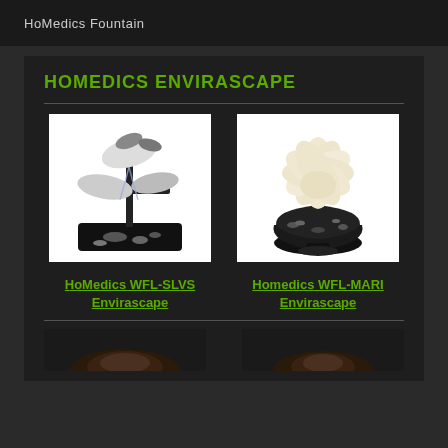HoMedics Fountain
HOMEDICS ENVIRASCAPE
[Figure (photo): HoMedics WFL-SLVS Envirascape tabletop fountain with multiple black leaf tiers and stones]
HoMedics WFL-SLVS Envirascape
[Figure (photo): Homedics WFL-MARI Envirascape lotus flower fountain in black bowl]
Homedics WFL-MARI Envirascape
[Figure (photo): Bottom left fountain product partially visible]
[Figure (photo): Bottom right fountain product partially visible]